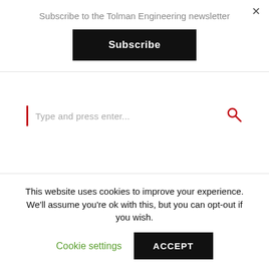Subscribe to the Tolman Engineering newsletter
Subscribe
Type and press enter...
[Figure (logo): ATEC logo — rectangular rounded border with bold ATEC text]
[Figure (logo): eControl logo — circular icon with CONTROL text]
This website uses cookies to improve your experience. We'll assume you're ok with this, but you can opt-out if you wish.
Cookie settings
ACCEPT